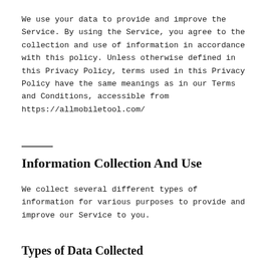We use your data to provide and improve the Service. By using the Service, you agree to the collection and use of information in accordance with this policy. Unless otherwise defined in this Privacy Policy, terms used in this Privacy Policy have the same meanings as in our Terms and Conditions, accessible from https://allmobiletool.com/
Information Collection And Use
We collect several different types of information for various purposes to provide and improve our Service to you.
Types of Data Collected